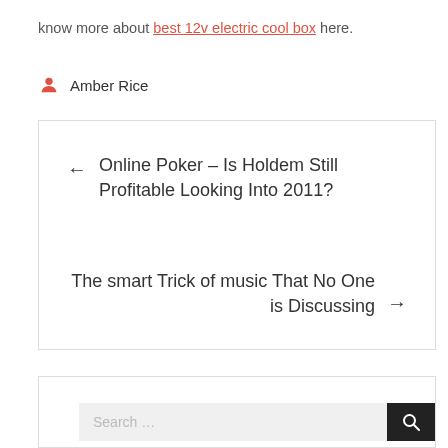know more about best 12v electric cool box here.
Amber Rice
← Online Poker – Is Holdem Still Profitable Looking Into 2011?
The smart Trick of music That No One is Discussing →
Search …